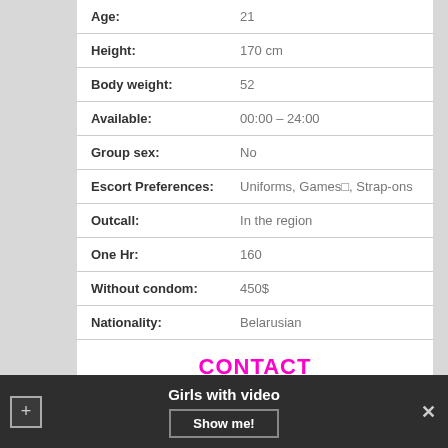| Age: | 21 |
| Height: | 170 cm |
| Body weight: | 52 |
| Available: | 00:00 – 24:00 |
| Group sex: | No |
| Escort Preferences: | Uniforms, Games□, Strap-ons |
| Outcall: | In the region |
| One Hr: | 160 |
| Without condom: | 450$ |
| Nationality: | Belarusian |
CONTACT
Girls with video  Show me!